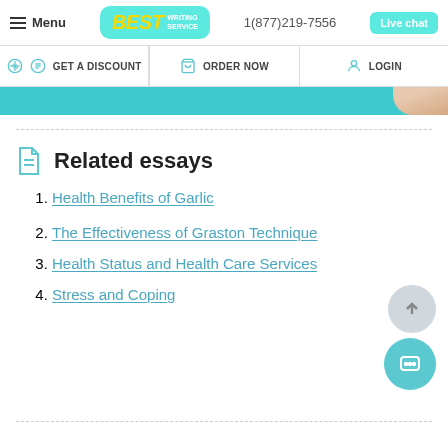Menu | BEST WRITING SERVICE | 1(877)219-7556 | Live chat
GET A DISCOUNT | ORDER NOW | LOGIN
Related essays
1. Health Benefits of Garlic
2. The Effectiveness of Graston Technique
3. Health Status and Health Care Services
4. Stress and Coping